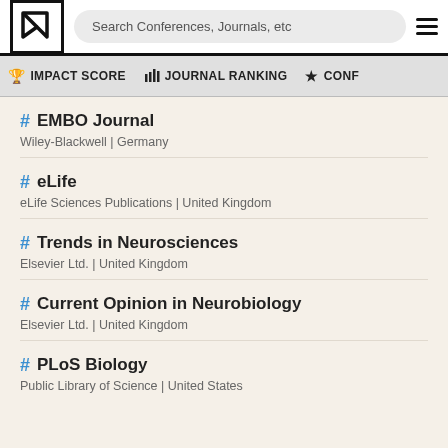Search Conferences, Journals, etc
IMPACT SCORE | JOURNAL RANKING | CONF
EMBO Journal – Wiley-Blackwell | Germany
eLife – eLife Sciences Publications | United Kingdom
Trends in Neurosciences – Elsevier Ltd. | United Kingdom
Current Opinion in Neurobiology – Elsevier Ltd. | United Kingdom
PLoS Biology – Public Library of Science | United States